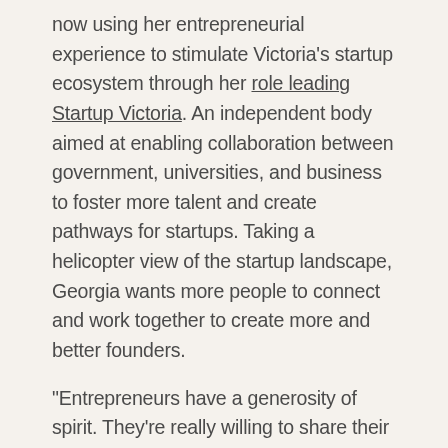now using her entrepreneurial experience to stimulate Victoria's startup ecosystem through her role leading Startup Victoria. An independent body aimed at enabling collaboration between government, universities, and business to foster more talent and create pathways for startups. Taking a helicopter view of the startup landscape, Georgia wants more people to connect and work together to create more and better founders.
“Entrepreneurs have a generosity of spirit. They’re really willing to share their knowledge and help you avoid making the same mistakes,” says Georgia. Aspiring entrepreneurs don’t have to do it alone. They can, and should, leverage the knowledge and networks of people more experienced than themselves. The monthly Startup Victoria Pitch Nights are eponymous with this, being a community where you can engage with other